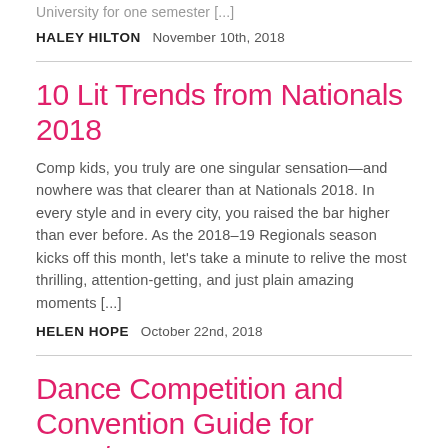University for one semester [...]
HALEY HILTON   November 10th, 2018
10 Lit Trends from Nationals 2018
Comp kids, you truly are one singular sensation—and nowhere was that clearer than at Nationals 2018. In every style and in every city, you raised the bar higher than ever before. As the 2018–19 Regionals season kicks off this month, let's take a minute to relive the most thrilling, attention-getting, and just plain amazing moments [...]
HELEN HOPE   October 22nd, 2018
Dance Competition and Convention Guide for 2018/2019